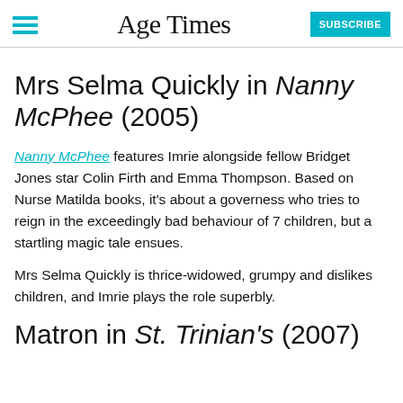Age Times | SUBSCRIBE
Mrs Selma Quickly in Nanny McPhee (2005)
Nanny McPhee features Imrie alongside fellow Bridget Jones star Colin Firth and Emma Thompson. Based on Nurse Matilda books, it’s about a governess who tries to reign in the exceedingly bad behaviour of 7 children, but a startling magic tale ensues.
Mrs Selma Quickly is thrice-widowed, grumpy and dislikes children, and Imrie plays the role superbly.
Matron in St. Trinian’s (2007)